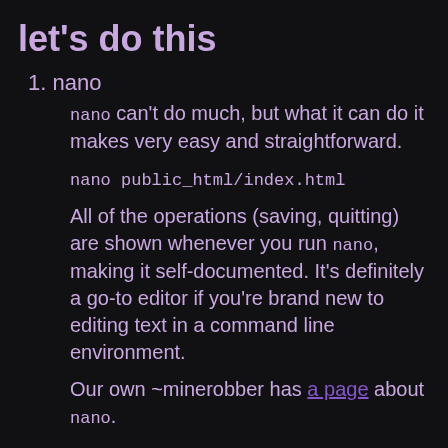let's do this
1. nano
nano can't do much, but what it can do it makes very easy and straightforward.
nano public_html/index.html
All of the operations (saving, quitting) are shown whenever you run nano, making it self-documented. It's definitely a go-to editor if you're brand new to editing text in a command line environment.
Our own ~minerobber has a page about nano.
2. micro
While micro is very simple, you do have to do a little more learning than nano. You'll be rewarded with more features, though, like split screens and syntax highlighting.